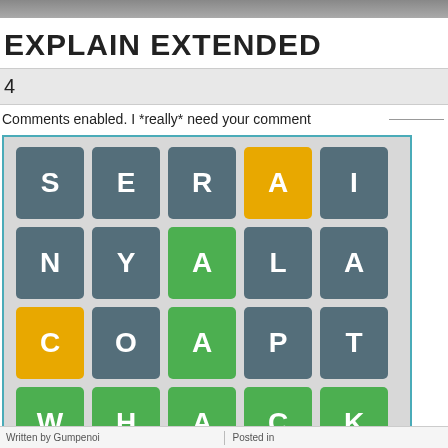EXPLAIN EXTENDED
4
Comments enabled. I *really* need your comment
[Figure (other): Wordle-style 4x5 grid of letter tiles. Row 1: S(gray), E(gray), R(gray), A(yellow), I(gray). Row 2: N(gray), Y(gray), A(green), L(gray), A(gray). Row 3: C(yellow), O(gray), A(green), P(gray), T(gray). Row 4: W(green), H(green), A(green), C(green), K(green).]
Written by Gumpenoi   Posted in